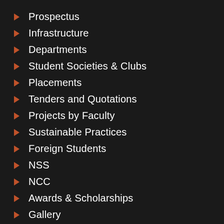Prospectus
Infrastructure
Departments
Student Societies & Clubs
Placements
Tenders and Quotations
Projects by Faculty
Sustainable Practices
Foreign Students
NSS
NCC
Awards & Scholarships
Gallery
Social Outreach
Societies and Clubs Reports